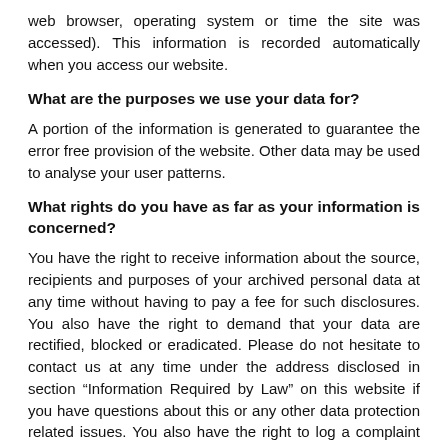web browser, operating system or time the site was accessed). This information is recorded automatically when you access our website.
What are the purposes we use your data for?
A portion of the information is generated to guarantee the error free provision of the website. Other data may be used to analyse your user patterns.
What rights do you have as far as your information is concerned?
You have the right to receive information about the source, recipients and purposes of your archived personal data at any time without having to pay a fee for such disclosures. You also have the right to demand that your data are rectified, blocked or eradicated. Please do not hesitate to contact us at any time under the address disclosed in section “Information Required by Law” on this website if you have questions about this or any other data protection related issues. You also have the right to log a complaint with the competent supervising agency.